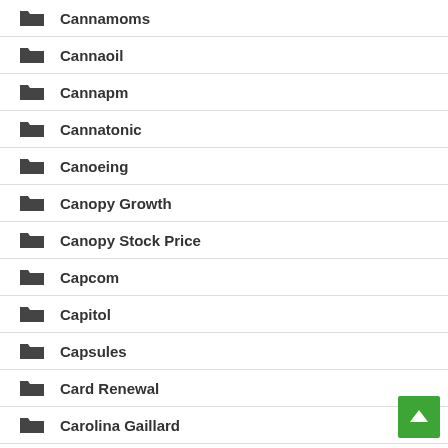Cannamoms
Cannaoil
Cannapm
Cannatonic
Canoeing
Canopy Growth
Canopy Stock Price
Capcom
Capitol
Capsules
Card Renewal
Carolina Gaillard
Carolina Pineau